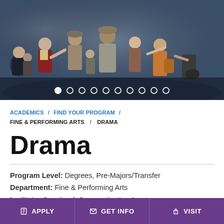[Figure (photo): Theater/drama performance scene with multiple actors in period costumes on stage, carousel with 10 navigation dots at the bottom]
ACADEMICS / FIND YOUR PROGRAM / FINE & PERFORMING ARTS / DRAMA
Drama
Program Level: Degrees, Pre-Majors/Transfer
Department: Fine & Performing Arts
Institute: Creative & Communication Arts
College: NYC
APPLY | GET INFO | VISIT